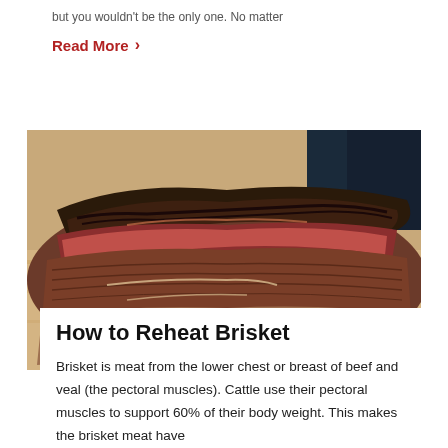but you wouldn't be the only one. No matter
Read More ›
[Figure (photo): Sliced smoked brisket showing dark bark exterior and pink smoke ring interior, resting on a wooden cutting board]
How to Reheat Brisket
Brisket is meat from the lower chest or breast of beef and veal (the pectoral muscles). Cattle use their pectoral muscles to support 60% of their body weight. This makes the brisket meat have